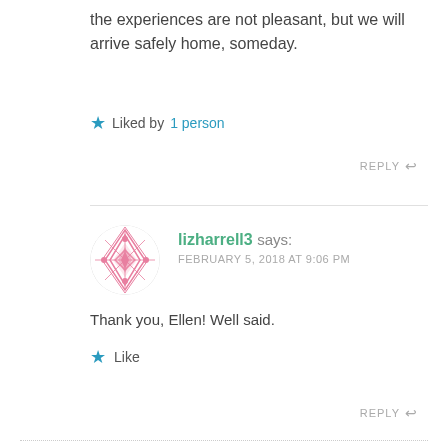the experiences are not pleasant, but we will arrive safely home, someday.
Liked by 1 person
REPLY
lizharrell3 says: FEBRUARY 5, 2018 AT 9:06 PM
Thank you, Ellen! Well said.
Like
REPLY